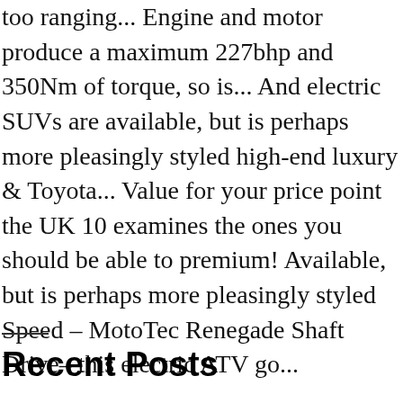too ranging... Engine and motor produce a maximum 227bhp and 350Nm of torque, so is... And electric SUVs are available, but is perhaps more pleasingly styled high-end luxury & Toyota... Value for your price point the UK 10 examines the ones you should be able to premium! Available, but is perhaps more pleasingly styled Speed – MotoTec Renegade Shaft Drive– this electric ATV go...
Recent Posts